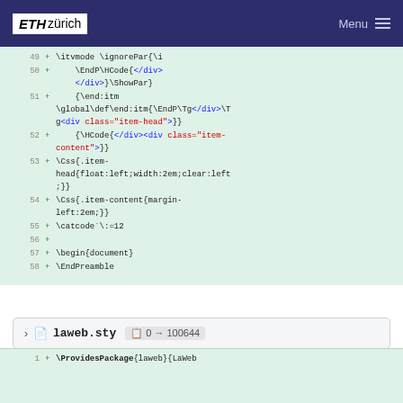ETH zürich   Menu
[Figure (screenshot): Code diff view showing lines 49-58 of a LaTeX/HTML configuration file with green background, line numbers, plus signs, and syntax-highlighted code]
laweb.sty   0 → 100644
[Figure (screenshot): Partial bottom code diff row showing line 1 with \ProvidesPackage{laweb}{LaWeb]